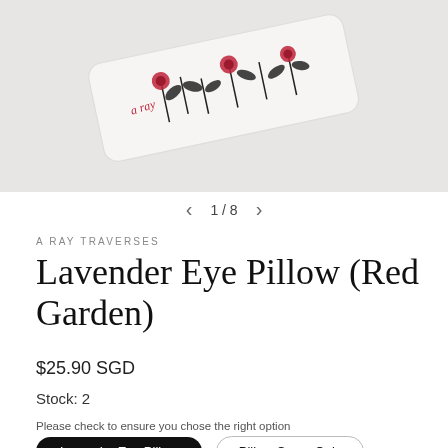[Figure (photo): A white fabric pillow/cover with red floral and black leaf embroidery pattern, photographed on a light grey background, slightly tilted.]
1 / 8
A RAY TRAVERSES
Lavender Eye Pillow (Red Garden)
$25.90 SGD
Stock: 2
Please check to ensure you chose the right option
Lavender Eye Pillow
Pillow Cover Only